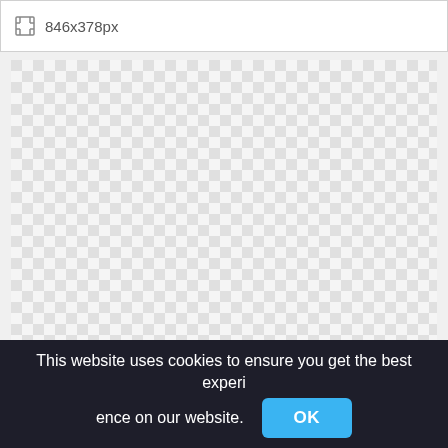[Figure (screenshot): UI toolbar element showing a resize/fullscreen icon and the text '846x378px' indicating image dimensions]
[Figure (other): Transparent checkerboard pattern area indicating an empty or transparent image canvas]
This website uses cookies to ensure you get the best experience on our website.
OK